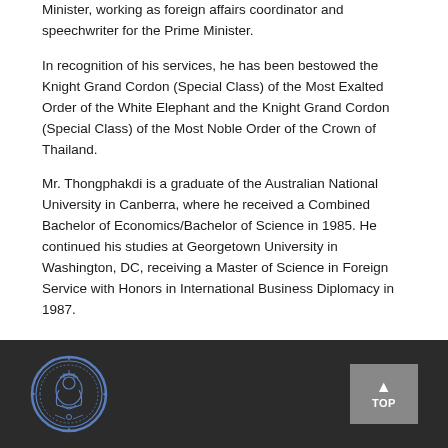Minister, working as foreign affairs coordinator and speechwriter for the Prime Minister.
In recognition of his services, he has been bestowed the Knight Grand Cordon (Special Class) of the Most Exalted Order of the White Elephant and the Knight Grand Cordon (Special Class) of the Most Noble Order of the Crown of Thailand.
Mr. Thongphakdi is a graduate of the Australian National University in Canberra, where he received a Combined Bachelor of Economics/Bachelor of Science in 1985. He continued his studies at Georgetown University in Washington, DC, receiving a Master of Science in Foreign Service with Honors in International Business Diplomacy in 1987.
[Figure (logo): Circular blue official government seal with ornate design on dark footer bar]
TOP